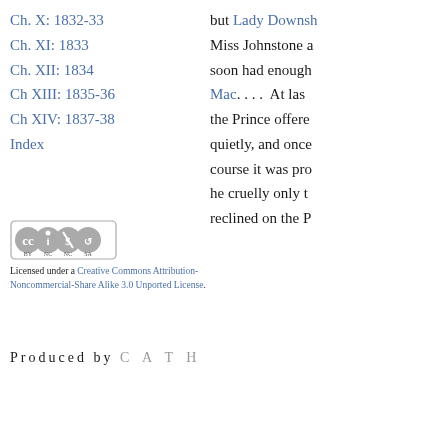Ch. X: 1832-33
Ch. XI: 1833
Ch. XII: 1834
Ch XIII: 1835-36
Ch XIV: 1837-38
Index
but Lady Downsh Miss Johnstone a soon had enough Mac. . . . At las the Prince offere quietly, and once course it was pro he cruelly only t reclined on the P
[Figure (logo): Creative Commons BY NC SA license badge]
Licensed under a Creative Commons Attribution-Noncommercial-Share Alike 3.0 Unported License.
Produced by CATH